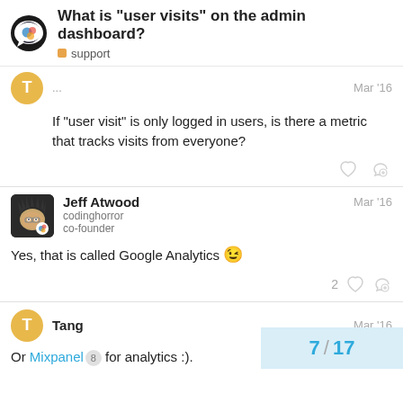What is “user visits” on the admin dashboard? support
If “user visit” is only logged in users, is there a metric that tracks visits from everyone?
Jeff Atwood Mar '16 codinghorror co-founder
Yes, that is called Google Analytics 😉
Tang Mar '16
Or Mixpanel 8 for analytics :).
7 / 17